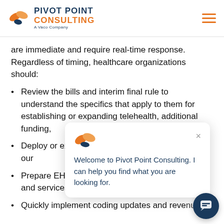Pivot Point Consulting — A Vaco Company
are immediate and require real-time response. Regardless of timing, healthcare organizations should:
Review the bills and interim final rule to understand the specifics that apply to them for establishing or expanding telehealth, additional funding,
Deploy or expand — guidance, see our
Prepare EHR and reports to capture key volume and services metrics dating back to March 1
Quickly implement coding updates and revenue